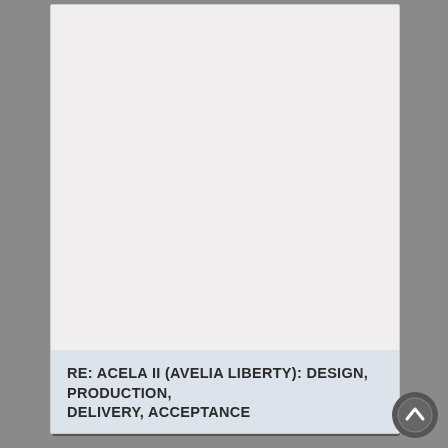RE: ACELA II (AVELIA LIBERTY): DESIGN, PRODUCTION, DELIVERY, ACCEPTANCE